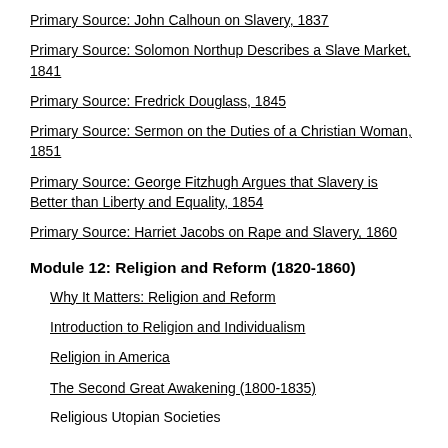Primary Source: John Calhoun on Slavery, 1837
Primary Source: Solomon Northup Describes a Slave Market, 1841
Primary Source: Fredrick Douglass, 1845
Primary Source: Sermon on the Duties of a Christian Woman, 1851
Primary Source: George Fitzhugh Argues that Slavery is Better than Liberty and Equality, 1854
Primary Source: Harriet Jacobs on Rape and Slavery, 1860
Module 12: Religion and Reform (1820-1860)
Why It Matters: Religion and Reform
Introduction to Religion and Individualism
Religion in America
The Second Great Awakening (1800-1835)
Religious Utopian Societies